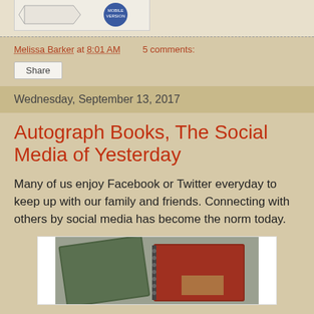[Figure (illustration): Partial view of a blog header image with a blue badge and arrow graphic]
Melissa Barker at 8:01 AM   5 comments:
Share
Wednesday, September 13, 2017
Autograph Books, The Social Media of Yesterday
Many of us enjoy Facebook or Twitter everyday to keep up with our family and friends. Connecting with others by social media has become the norm today.
[Figure (photo): Two autograph books — a green one on the left and a red spiral-bound one on the right — lying on a gray surface]